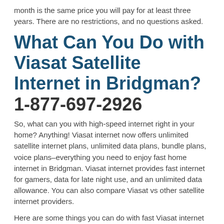month is the same price you will pay for at least three years. There are no restrictions, and no questions asked.
What Can You Do with Viasat Satellite Internet in Bridgman? 1-877-697-2926
So, what can you with high-speed internet right in your home? Anything! Viasat internet now offers unlimited satellite internet plans, unlimited data plans, bundle plans, voice plans–everything you need to enjoy fast home internet in Bridgman. Viasat internet provides fast internet for gamers, data for late night use, and an unlimited data allowance. You can also compare Viasat vs other satellite internet providers.
Here are some things you can do with fast Viasat internet service in Michigan: